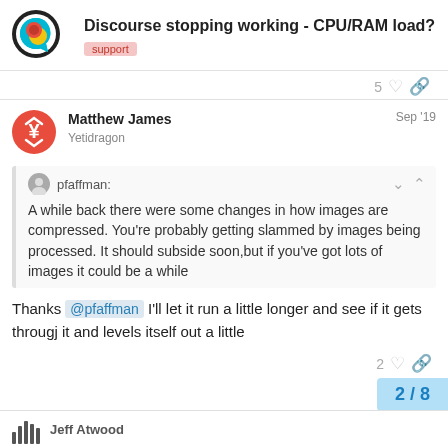Discourse stopping working - CPU/RAM load?
support
5 ♡ 🔗
Matthew James
Yetidragon
Sep '19
pfaffman:
A while back there were some changes in how images are compressed. You're probably getting slammed by images being processed. It should subside soon,but if you've got lots of images it could be a while
Thanks @pfaffman I'll let it run a little longer and see if it gets througj it and levels itself out a little
2 ♡ 🔗
2 / 8
Jeff Atwood